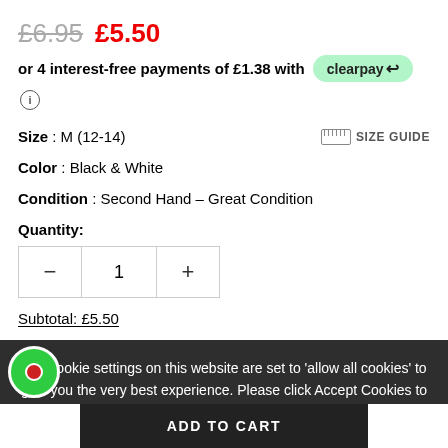£6.95  £5.50
or 4 interest-free payments of £1.38 with clearpay
Size : M (12-14)
SIZE GUIDE
Color : Black & White
Condition : Second Hand - Great Condition
Quantity:
Subtotal: £5.50
The cookie settings on this website are set to 'allow all cookies' to give you the very best experience. Please click Accept Cookies to continue to use the site.
PRIVACY POLICY
ACCEPT ✔
ADD TO CART